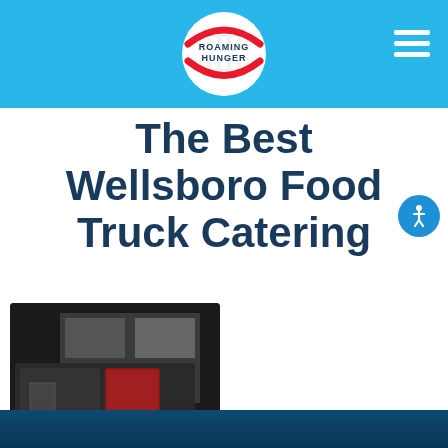Roaming Hunger
The Best Wellsboro Food Truck Catering
[Figure (photo): A black food truck trailer with the text 'Red Skillet' overlaid in white at the bottom left. A wooden folding table is visible in front.]
Red Skillet